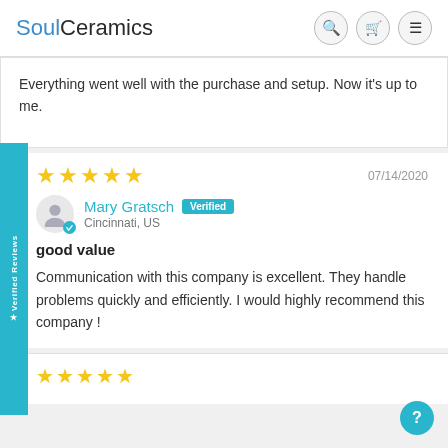SoulCeramics
Everything went well with the purchase and setup. Now it's up to me.
07/14/2020
Mary Gratsch  Verified  Cincinnati, US
good value
Communication with this company is excellent. They handle problems quickly and efficiently. I would highly recommend this company !